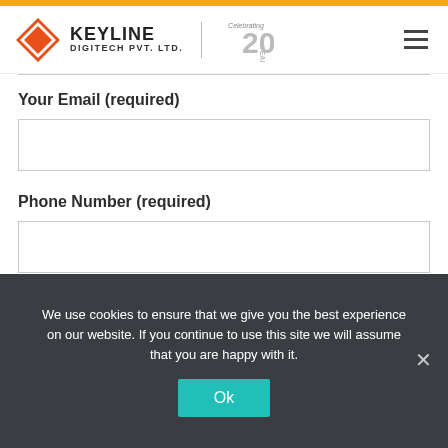[Figure (logo): Keyline Digitech Pvt. Ltd. logo with diamond icon and 20 years celebration badge]
Your Email (required)
Phone Number (required)
I'm not a robot
We use cookies to ensure that we give you the best experience on our website. If you continue to use this site we will assume that you are happy with it.
Ok